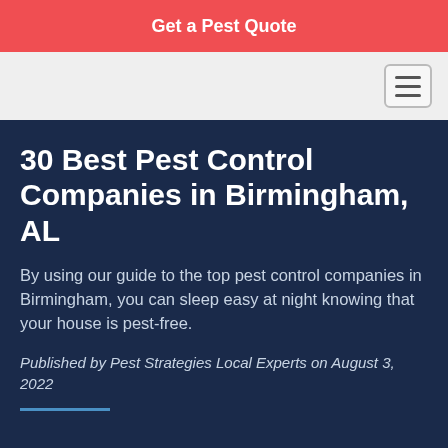Get a Pest Quote
30 Best Pest Control Companies in Birmingham, AL
By using our guide to the top pest control companies in Birmingham, you can sleep easy at night knowing that your house is pest-free.
Published by Pest Strategies Local Experts on August 3, 2022